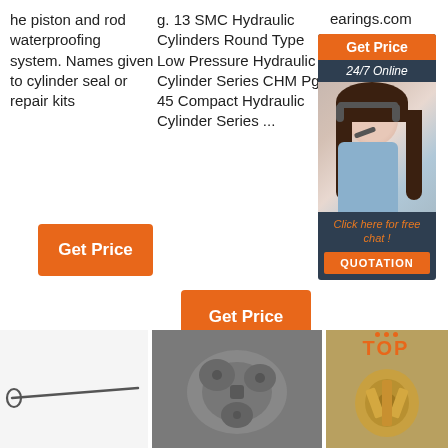he piston and rod waterproofing system. Names given to cylinder seal or repair kits
Get Price
g. 13 SMC Hydraulic Cylinders Round Type Low Pressure Hydraulic Cylinder Series CHM Pg. 45 Compact Hydraulic Cylinder Series ...
Get Price
earings.com
[Figure (photo): Customer service representative with headset, orange Get Price button, 24/7 Online text, Click here for free chat!, QUOTATION button]
[Figure (photo): Thin metal dipstick tool on white background]
[Figure (photo): Metal hydraulic or mechanical fitting/connector part]
[Figure (photo): Gold/brass colored drill bit or mining tool with TOP badge overlay]